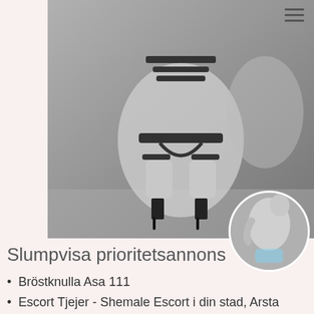[Figure (photo): Black and white photo of person in lingerie and high heels, crouching pose]
[Figure (photo): Small circular thumbnail photo of a person]
Slumpvisa prioritetsannons
Bröstknulla Asa 111
Escort Tjejer - Shemale Escort i din stad, Arsta